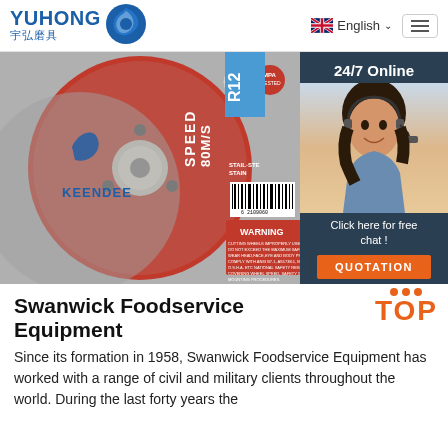YUHONG 宇弘磨具 | English | Menu
[Figure (photo): Red and grey abrasive cutting wheel (KEENDEE brand) with 'SPEED 80M/S' and 'WARNING' label text. Right side shows a dark panel with '24/7 Online' text, a customer service agent photo, 'Click here for free chat!' text, and an orange 'QUOTATION' button.]
Swanwick Foodservice Equipment
Since its formation in 1958, Swanwick Foodservice Equipment has worked with a range of civil and military clients throughout the world. During the last forty years the